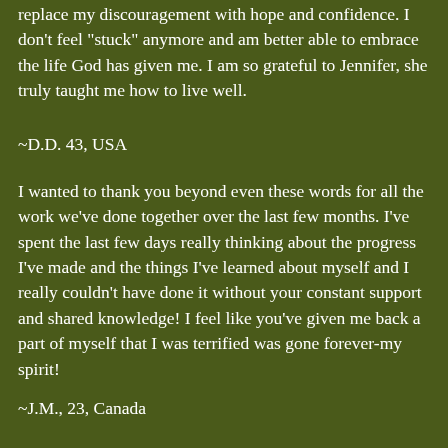replace my discouragement with hope and confidence. I don't feel "stuck" anymore and am better able to embrace the life God has given me. I am so grateful to Jennifer, she truly taught me how to live well.
~D.D. 43, USA
I wanted to thank you beyond even these words for all the work we've done together over the last few months. I've spent the last few days really thinking about the progress I've made and the things I've learned about myself and I really couldn't have done it without your constant support and shared knowledge! I feel like you've given me back a part of myself that I was terrified was gone forever-my spirit!
~J.M., 23, Canada
I've learned so many things and it's hard to pick one. But if I had